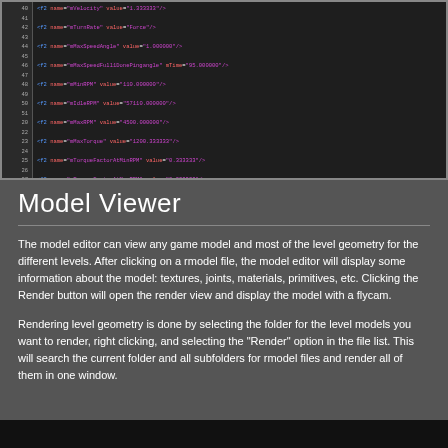[Figure (screenshot): Screenshot of XML/code editor showing lines of XML configuration code with red attribute names and purple attribute values on a dark background, with line numbers on the left side.]
Model Viewer
The model editor can view any game model and most of the level geometry for the different levels. After clicking on a rmodel file, the model editor will display some information about the model: textures, joints, materials, primitives, etc. Clicking the Render button will open the render view and display the model with a flycam.
Rendering level geometry is done by selecting the folder for the level models you want to render, right clicking, and selecting the "Render" option in the file list. This will search the current folder and all subfolders for rmodel files and render all of them in one window.